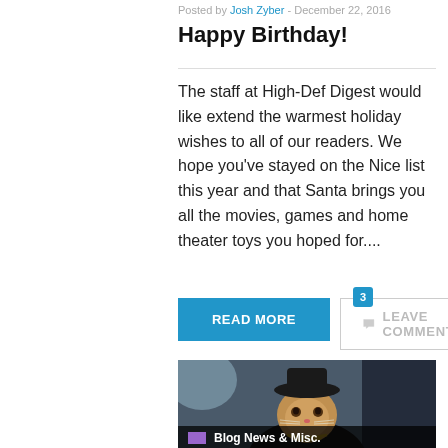Posted by Josh Zyber - December 22, 2016
Happy Birthday!
The staff at High-Def Digest would like extend the warmest holiday wishes to all of our readers. We hope you've stayed on the Nice list this year and that Santa brings you all the movies, games and home theater toys you hoped for....
READ MORE
LEAVE COMMENT
[Figure (photo): A kitten wearing a black hat and gold chain necklace, photographed against a blurred dark background]
Blog News & Misc.